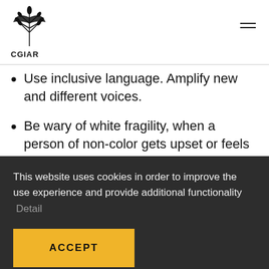CGIAR
Use inclusive language. Amplify new and different voices.
Be wary of white fragility, when a person of non-color gets upset or feels guilty abouttheir privilege. Their emotional needs can distract f…
This website uses cookies in order to improve the use experience and provide additional functionality  Detail
ACCEPT